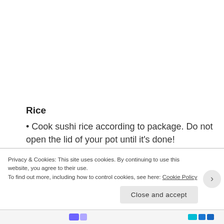Rice
• Cook sushi rice according to package. Do not open the lid of your pot until it's done!
• In the last few minutes of the rice's cooking time, mix rice vinegar, sugar and salt in a small saucepan and bring to a boil. Bring back down to simmer and cook until sugar is dissolved. When the rice is done
Privacy & Cookies: This site uses cookies. By continuing to use this website, you agree to their use.
To find out more, including how to control cookies, see here: Cookie Policy
Close and accept